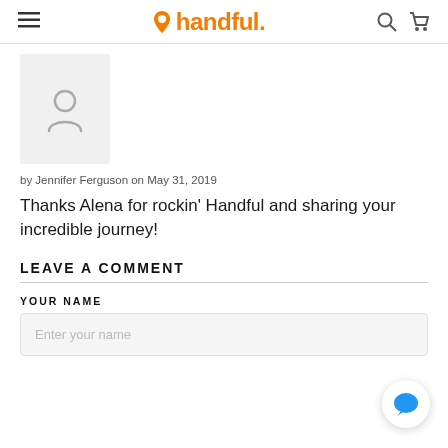handful. (logo header with hamburger menu, search, and cart icons)
[Figure (illustration): User avatar placeholder icon in a light gray box]
by Jennifer Ferguson on May 31, 2019
Thanks Alena for rockin' Handful and sharing your incredible journey!
LEAVE A COMMENT
YOUR NAME
Enter your name